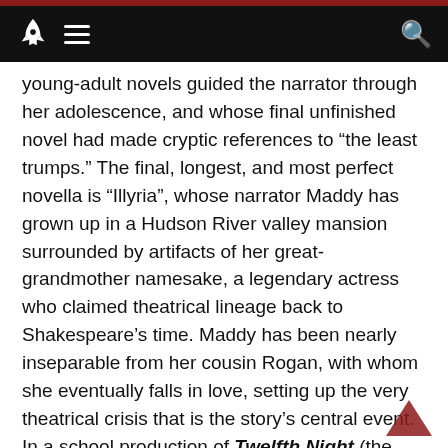Navigation bar with rocket logo, hamburger menu, and search icon
young-adult novels guided the narrator through her adolescence, and whose final unfinished novel had made cryptic references to “the least trumps.” The final, longest, and most perfect novella is “Illyria”, whose narrator Maddy has grown up in a Hudson River valley mansion surrounded by artifacts of her great-grandmother namesake, a legendary actress who claimed theatrical lineage back to Shakespeare’s time. Maddy has been nearly inseparable from her cousin Rogan, with whom she eventually falls in love, setting up the very theatrical crisis that is the story’s central event. In a school production of Twelfth Night (the DNA of which runs like a bright thread through the narrative), Rogan turns out to be a brilliant singer and Maddie at least a skilled actor. The fragility of their artistic dreams come to be embodied in a magical model theatre they discover hidden behind a wall in that rambling mansion